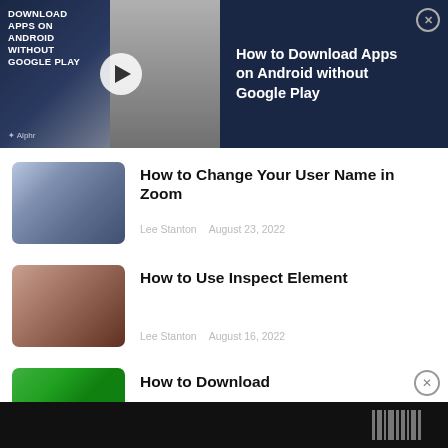[Figure (screenshot): Video ad banner for 'How to Download Apps on Android without Google Play' on dark navy background with thumbnail showing woman holding phone and Alphr logo]
How to Change Your User Name in Zoom
Lee Stanton   August 23, 2022
How to Use Inspect Element
Lee Stanton   August 16, 2022
How to Download
[Figure (screenshot): Bottom advertisement banner with black background and barcode-like graphic]